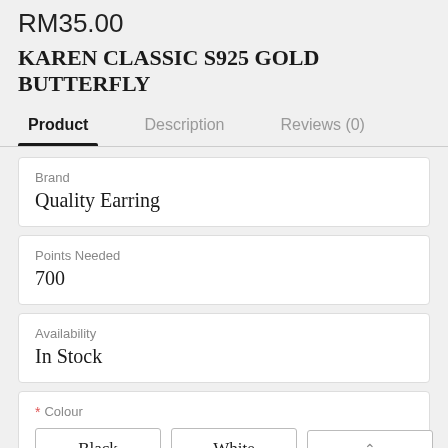RM35.00
KAREN CLASSIC S925 GOLD BUTTERFLY
Product   Description   Reviews (0)
| Label | Value |
| --- | --- |
| Brand | Quality Earring |
| Points Needed | 700 |
| Availability | In Stock |
* Colour
Black  White  [^]
Quantity